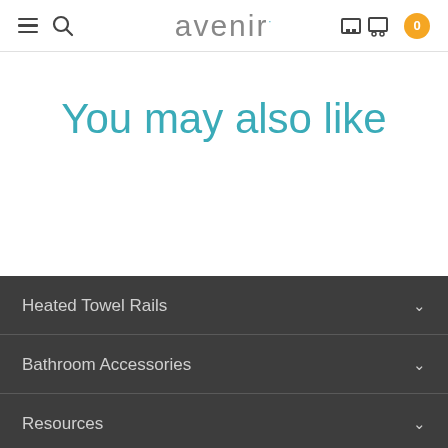avenir
You may also like
Heated Towel Rails
Bathroom Accessories
Resources